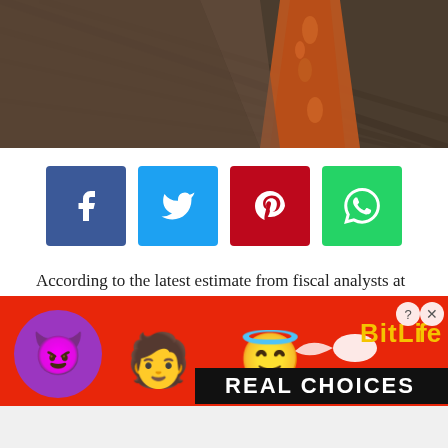[Figure (photo): Close-up photo of a man in a dark suit jacket with an orange/red paisley tie]
[Figure (infographic): Social sharing buttons row: Facebook (blue), Twitter (light blue), Pinterest (red), WhatsApp (green)]
According to the latest estimate from fiscal analysts at the North Carolina General Assembly, our state government will take in about $6.2 billion more in General Fund revenue over the 2021-23 budget biennium than was originally projected last year.
That's a huge number. It represents nearly a quarter of the entire General
[Figure (infographic): BitLife advertisement banner with emoji characters (devil, person, angel) and text 'REAL CHOICES' on red background]